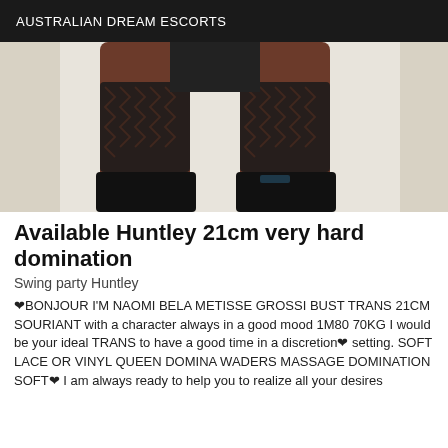AUSTRALIAN DREAM ESCORTS
[Figure (photo): Photo showing legs in black lace stockings and black high-heeled boots against a light background]
Available Huntley 21cm very hard domination
Swing party Huntley
❤BONJOUR I'M NAOMI BELA METISSE GROSSI BUST TRANS 21CM SOURIANT with a character always in a good mood 1M80 70KG I would be your ideal TRANS to have a good time in a discretion❤ setting. SOFT LACE OR VINYL QUEEN DOMINA WADERS MASSAGE DOMINATION SOFT❤ I am always ready to help you to realize all your desires